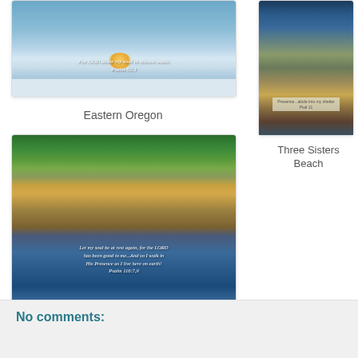[Figure (photo): Sunset over snowy Eastern Oregon landscape with Bible verse overlay: 'For GOD alone my soul in silence waits. Psalm 62:1']
Eastern Oregon
[Figure (photo): Three Sisters Beach coastal photo with rocky cliffs, green vegetation and water reflection. Bible verse: 'Let my soul be at rest again, for the LORD has been good to me...And so I walk in His Presence as I live here on earth! Psalm 116:7,9']
Three Sisters Beach
[Figure (photo): Thumbnail of Three Sisters Beach coastal rocky scene with Bible verse overlay]
Three Sisters Beach
No comments: